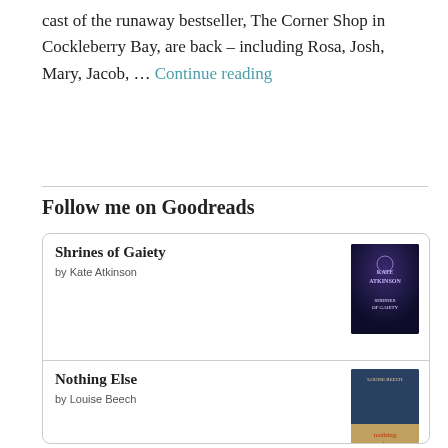cast of the runaway bestseller, The Corner Shop in Cockleberry Bay, are back – including Rosa, Josh, Mary, Jacob, … Continue reading
Follow me on Goodreads
| Title | Author | Cover |
| --- | --- | --- |
| Shrines of Gaiety | by Kate Atkinson |  |
| Nothing Else | by Louise Beech |  |
| The Summer Trip |  |  |